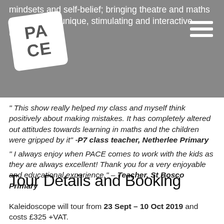mindsets and self-belief; bringing theatre and maths together in a unique, stimulating and interactive learning ex...
[Figure (logo): PACE logo: white rounded square with bold grey text reading PA / CE, rotated slightly]
"This show really helped my class and myself think positively about making mistakes. It has completely altered out attitudes towards learning in maths and the children were gripped by it" -P7 class teacher, Netherlee Primary
"I always enjoy when PACE comes to work with the kids as they are always excellent! Thank you for a very enjoyable and educational experience." – Teacher, St Bosco Primary
Tour Details and Booking
Kaleidoscope will tour from 23 Sept – 10 Oct 2019  and costs £325 +VAT.